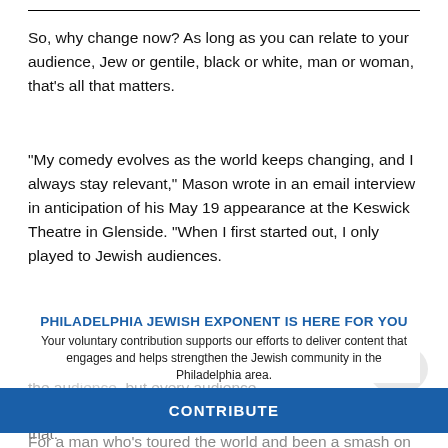So, why change now? As long as you can relate to your audience, Jew or gentile, black or white, man or woman, that's all that matters.
“My comedy evolves as the world keeps changing, and I always stay relevant,” Mason wrote in an email interview in anticipation of his May 19 appearance at the Keswick Theatre in Glenside. “When I first started out, I only played to Jewish audiences.
PHILADELPHIA JEWISH EXPONENT IS HERE FOR YOU
Your voluntary contribution supports our efforts to deliver content that engages and helps strengthen the Jewish community in the Philadelphia area.
CONTRIBUTE
“No matter what the audience, I have to adjust based on the audience, but every audience that.”
For a man who’s toured the world and been a smash on